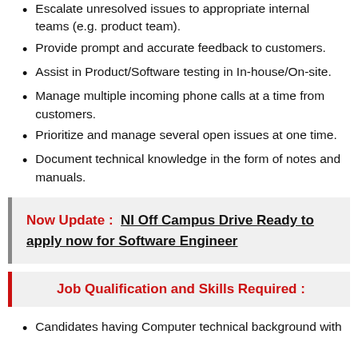Escalate unresolved issues to appropriate internal teams (e.g. product team).
Provide prompt and accurate feedback to customers.
Assist in Product/Software testing in In-house/On-site.
Manage multiple incoming phone calls at a time from customers.
Prioritize and manage several open issues at one time.
Document technical knowledge in the form of notes and manuals.
Now Update :  NI Off Campus Drive Ready to apply now for Software Engineer
Job Qualification and Skills Required :
Candidates having Computer technical background with